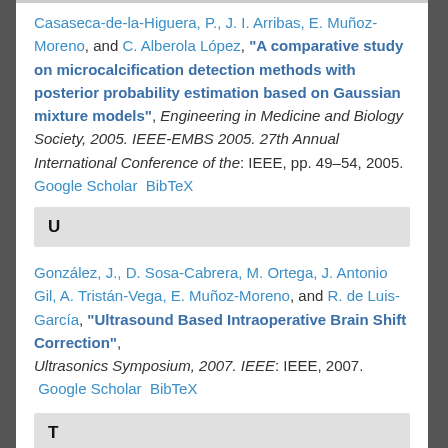Casaseca-de-la-Higuera, P., J. I. Arribas, E. Muñoz-Moreno, and C. Alberola López, "A comparative study on microcalcification detection methods with posterior probability estimation based on Gaussian mixture models", Engineering in Medicine and Biology Society, 2005. IEEE-EMBS 2005. 27th Annual International Conference of the: IEEE, pp. 49–54, 2005. Google Scholar BibTeX
U
González, J., D. Sosa-Cabrera, M. Ortega, J. Antonio Gil, A. Tristán-Vega, E. Muñoz-Moreno, and R. de Luis-García, "Ultrasound Based Intraoperative Brain Shift Correction", Ultrasonics Symposium, 2007. IEEE: IEEE, 2007. Google Scholar BibTeX
T
Martin-Fernandez, M., L. Cordero-Grande, E. …